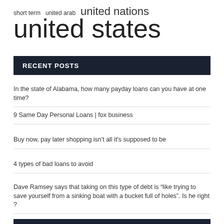short term   united arab   united nations
united states
RECENT POSTS
In the state of Alabama, how many payday loans can you have at one time?
9 Same Day Personal Loans | fox business
Buy now, pay later shopping isn't all it's supposed to be
4 types of bad loans to avoid
Dave Ramsey says that taking on this type of debt is “like trying to save yourself from a sinking boat with a bucket full of holes”. Is he right ?